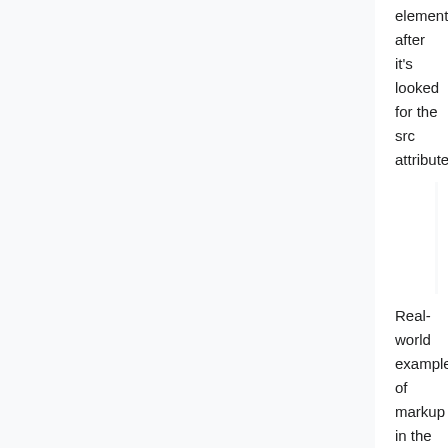element, after it's looked for the src attribute.
" else if video.u-x[poster],
 then get the poster attribute
"
Real-world example of markup in the wild:
http://veganstraightedge.com/videos/2013/5/31/1/backyard-squirrel-buddy
and likely all other videos posted there.
Background discussion that led to this proposal:
https://indiewebcamp.com/irc/2015-12-13#t1450035721661
This seems very straightforward so I've